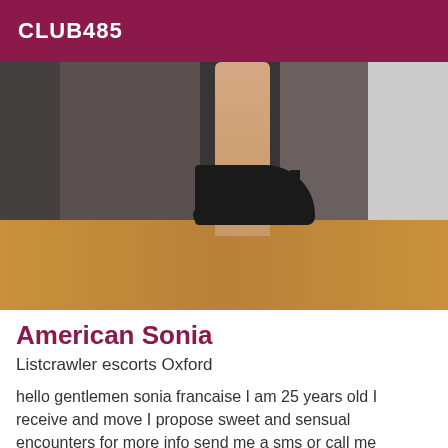CLUB485
[Figure (photo): Photo showing a woman's leg in a high-heeled black platform shoe, standing on a wooden floor with curtains and door frame in background]
American Sonia
Listcrawler escorts Oxford
hello gentlemen sonia francaise I am 25 years old I receive and move I propose sweet and sensual encounters for more info send me a sms or call me
[Figure (photo): Partial view of another listing image at bottom of page with Online badge]
Online